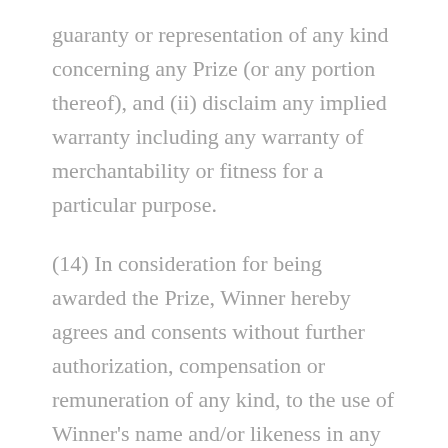guaranty or representation of any kind concerning any Prize (or any portion thereof), and (ii) disclaim any implied warranty including any warranty of merchantability or fitness for a particular purpose.
(14) In consideration for being awarded the Prize, Winner hereby agrees and consents without further authorization, compensation or remuneration of any kind, to the use of Winner's name and/or likeness in any and all advertising, promotions, and other publicity conducted by the Sweepstakes Parties, except where prohibited by law.
(15) Sweepstakes is void where prohibited by